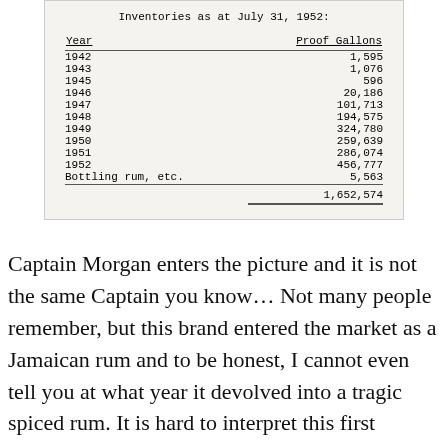Inventories as at July 31, 1952:
| Year | Proof Gallons |
| --- | --- |
| 1942 | 1,595 |
| 1943 | 1,076 |
| 1945 | 596 |
| 1946 | 20,186 |
| 1947 | 101,713 |
| 1948 | 194,575 |
| 1949 | 324,780 |
| 1950 | 259,639 |
| 1951 | 286,074 |
| 1952 | 456,777 |
| Bottling rum, etc. | 5,563 |
|  | 1,652,574 |
Captain Morgan enters the picture and it is not the same Captain you know… Not many people remember, but this brand entered the market as a Jamaican rum and to be honest, I cannot even tell you at what year it devolved into a tragic spiced rum. It is hard to interpret this first incarnation but we see some ten year old rum in that